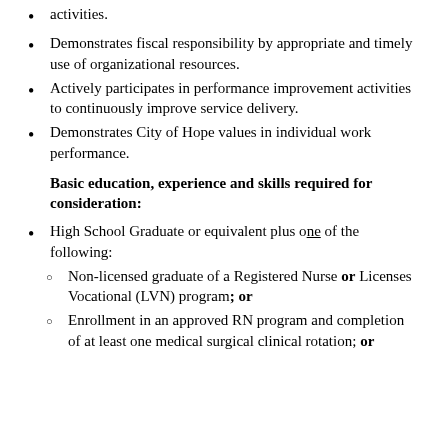activities.
Demonstrates fiscal responsibility by appropriate and timely use of organizational resources.
Actively participates in performance improvement activities to continuously improve service delivery.
Demonstrates City of Hope values in individual work performance.
Basic education, experience and skills required for consideration:
High School Graduate or equivalent plus one of the following:
Non-licensed graduate of a Registered Nurse or Licenses Vocational (LVN) program; or
Enrollment in an approved RN program and completion of at least one medical surgical clinical rotation; or